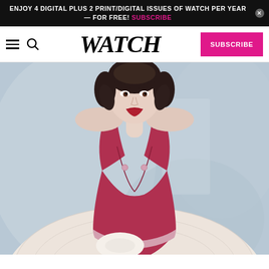ENJOY 4 DIGITAL PLUS 2 PRINT/DIGITAL ISSUES OF WATCH PER YEAR — FOR FREE! SUBSCRIBE
WATCH — SUBSCRIBE
[Figure (photo): Vintage color portrait of a woman with dark hair in an updo, wearing a red sleeveless V-neck gown with a full white lace skirt and white gloves, posed against a soft grey background.]